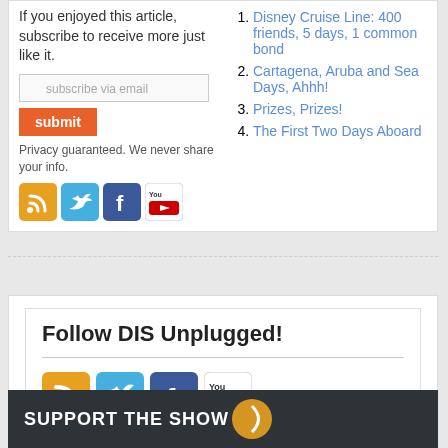If you enjoyed this article, subscribe to receive more just like it.
[Figure (screenshot): Email subscription input field with envelope icon and placeholder text 'subscribe via email']
[Figure (screenshot): Orange submit button with white text 'submit']
Privacy guaranteed. We never share your info.
[Figure (infographic): Four social media icons: RSS (orange), Twitter (blue), Facebook (dark blue), YouTube (red/white)]
Disney Cruise Line: 400 friends, 5 days, 1 common bond
Cartagena, Aruba and Sea Days, Ahhh!
Prizes, Prizes!
The First Two Days Aboard
Follow DIS Unplugged!
[Figure (infographic): Four social media icons: RSS (orange), Twitter (blue), Facebook (dark blue), YouTube (red/white)]
SUPPORT THE SHOW